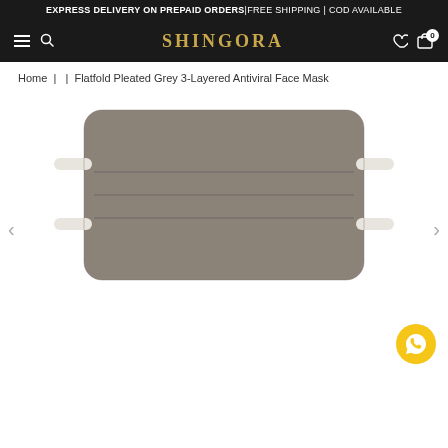EXPRESS DELIVERY ON PREPAID ORDERS | FREE SHIPPING | COD AVAILABLE
[Figure (screenshot): Shingora e-commerce website navigation bar with hamburger menu, search icon, SHINGORA logo in gold, heart and cart icons on black background]
Home  |  |  Flatfold Pleated Grey 3-Layered Antiviral Face Mask
[Figure (photo): Flatfold Pleated Grey 3-Layered Antiviral Face Mask — flat rectangular grey fabric mask with three horizontal pleats and white elastic straps on both sides, shown on white background]